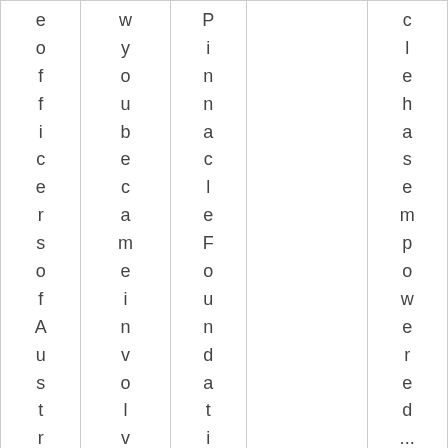| e
o
f
f
i
c
e
r
s
o
f
A
u
s
t
r | w
y
o
u
b
e
c
a
m
e
i
n
v
o
l
v
e | P
i
n
n
a
c
l
e
F
o
u
n
d
a
t
i
o |  | c
l
e
h
a
s
e
m
p
o
w
e
r
e
d
... |